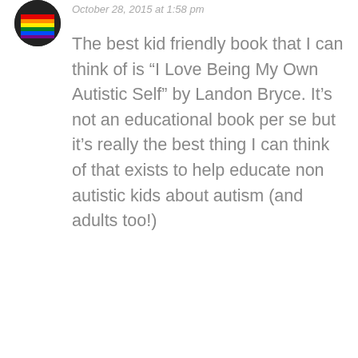October 28, 2015 at 1:58 pm
The best kid friendly book that I can think of is “I Love Being My Own Autistic Self” by Landon Bryce. It’s not an educational book per se but it’s really the best thing I can think of that exists to help educate non autistic kids about autism (and adults too!)
★ Like
KATEGLADSTONE
October 30, 2015 at 3:39 pm
I want to read your book, Erin, when